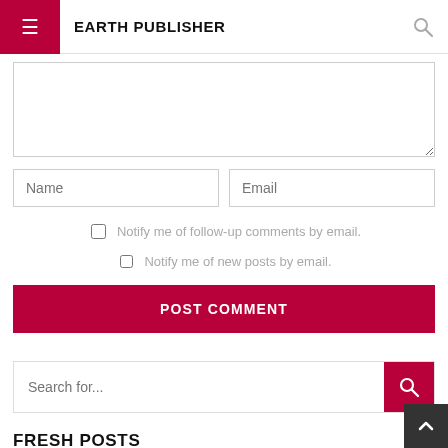EARTH PUBLISHER
Comment textarea (empty)
Name | Email
Notify me of follow-up comments by email.
Notify me of new posts by email.
POST COMMENT
Search for...
FRESH POSTS